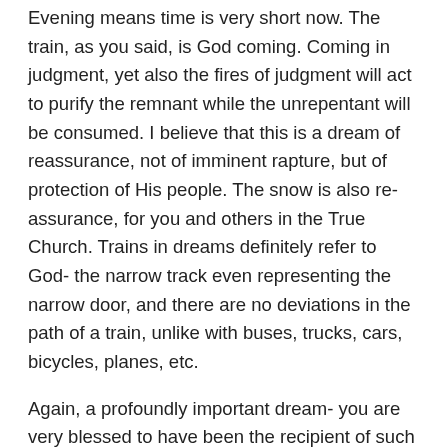Evening means time is very short now. The train, as you said, is God coming. Coming in judgment, yet also the fires of judgment will act to purify the remnant while the unrepentant will be consumed. I believe that this is a dream of reassurance, not of imminent rapture, but of protection of His people. The snow is also reassurance, for you and others in the True Church. Trains in dreams definitely refer to God- the narrow track even representing the narrow door, and there are no deviations in the path of a train, unlike with buses, trucks, cars, bicycles, planes, etc.
Again, a profoundly important dream- you are very blessed to have been the recipient of such an urgent and important word from the Lord!